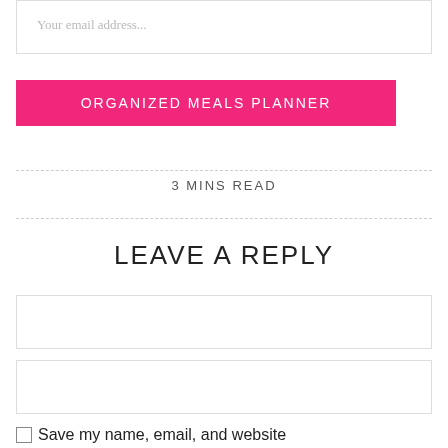Your email address...
ORGANIZED MEALS PLANNER
3 MINS READ
LEAVE A REPLY
Name *
E-Mail *
Save my name, email, and website